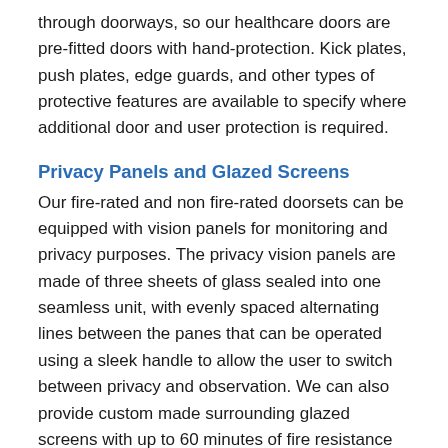through doorways, so our healthcare doors are pre-fitted doors with hand-protection. Kick plates, push plates, edge guards, and other types of protective features are available to specify where additional door and user protection is required.
Privacy Panels and Glazed Screens
Our fire-rated and non fire-rated doorsets can be equipped with vision panels for monitoring and privacy purposes. The privacy vision panels are made of three sheets of glass sealed into one seamless unit, with evenly spaced alternating lines between the panes that can be operated using a sleek handle to allow the user to switch between privacy and observation. We can also provide custom made surrounding glazed screens with up to 60 minutes of fire resistance and 47 RwdB, which are often specified for way-finding and fire-protection, and to bring in as much natural lighting as